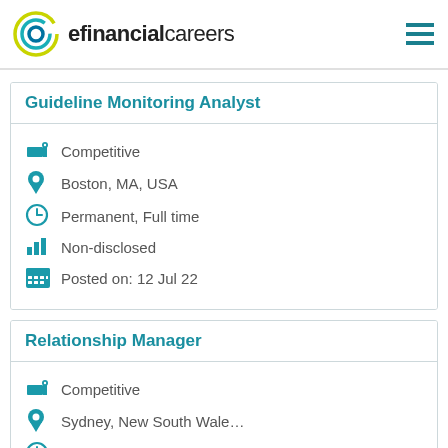efinancialcareers
Guideline Monitoring Analyst
Competitive
Boston, MA, USA
Permanent, Full time
Non-disclosed
Posted on:  12 Jul 22
Relationship Manager
Competitive
Sydney, New South Wale…
Permanent, Full time
Non-disclosed